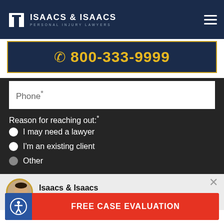ISAACS & ISAACS PERSONAL INJURY LAWYERS
800-333-9999
Phone*
Reason for reaching out:*
I may need a lawyer
I'm an existing client
Other
Isaacs & Isaacs
Instant Case Evaluation Available
FREE CASE EVALUATION